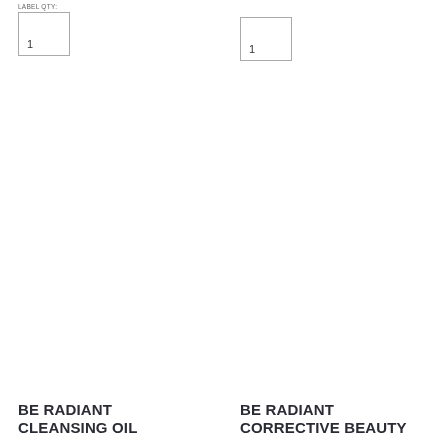LABEL QTY:
[Figure (other): Quantity input box with number 1, left column]
[Figure (other): Quantity input box with number 1, right column]
BE RADIANT CLEANSING OIL
BE RADIANT CORRECTIVE BEAUTY